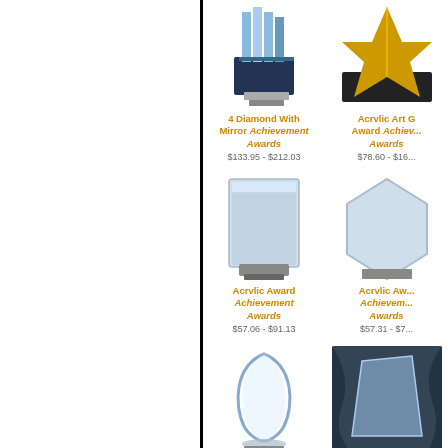[Figure (photo): Product grid showing acrylic awards and trophies for achievement. Left half of page is blank white panel separated by a vertical black line. Right panel shows 6 product images in a 2-column grid: row1: '4 Diamond With Mirror Achievement Awards $133.95-$212.03' and 'Acrvlic Art G... Award Achiev... Awards $78.60-$16...'; row2: 'Acrvlic Award Achievement Awards $57.06-$91.13' and 'Acrvlic Aw... Achievem... Awards $57.31-$7...'; row3: 'Acrvlic Award Achievement' and 'Acrvlic Aw... Achievem...']